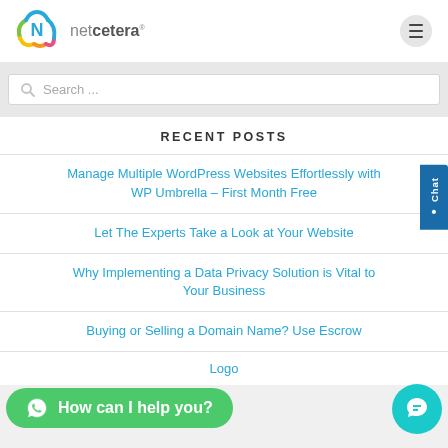[Figure (logo): Netcetera logo with colorful N cloud icon and text 'netcetera']
Search ...
RECENT POSTS
Manage Multiple WordPress Websites Effortlessly with WP Umbrella – First Month Free
Let The Experts Take a Look at Your Website
Why Implementing a Data Privacy Solution is Vital to Your Business
Buying or Selling a Domain Name? Use Escrow
Logo
How can I help you?